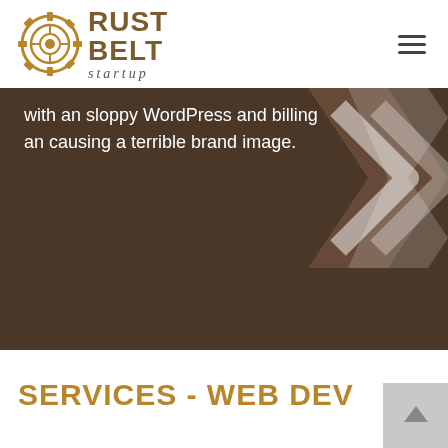[Figure (logo): Rust Belt Startup logo with gear icon and text]
with an sloppy WordPress and billing an causing a terrible brand image.
[Figure (illustration): Decorative chevron/arrow shapes in dark brown background]
SERVICES - WEB DEV